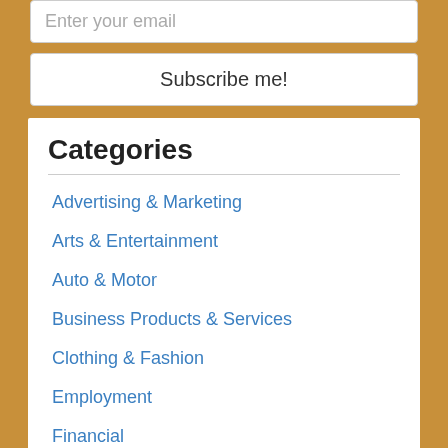Enter your email
Subscribe me!
Categories
Advertising & Marketing
Arts & Entertainment
Auto & Motor
Business Products & Services
Clothing & Fashion
Employment
Financial
Foods & Culinary
Gambling
Health & Fitness